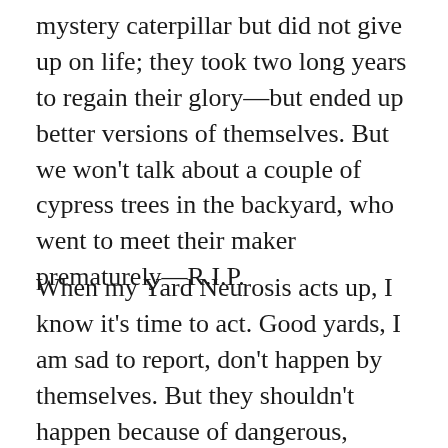mystery caterpillar but did not give up on life; they took two long years to regain their glory—but ended up better versions of themselves. But we won't talk about a couple of cypress trees in the backyard, who went to meet their maker prematurely—R.I.P.
When my Yard Neurosis acts up, I know it's time to act. Good yards, I am sad to report, don't happen by themselves. But they shouldn't happen because of dangerous, earth-polluting chemicals, either—because they are bad for the